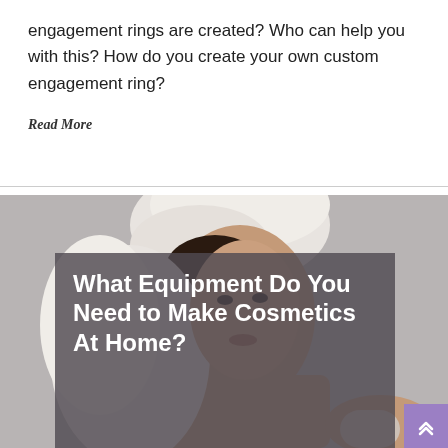engagement rings are created? Who can help you with this? How do you create your own custom engagement ring?
Read More
[Figure (photo): Woman with white towel wrapped around her head holding a cosmetic cream container, with a semi-transparent dark overlay showing the title text 'What Equipment Do You Need to Make Cosmetics At Home?']
What Equipment Do You Need to Make Cosmetics At Home?